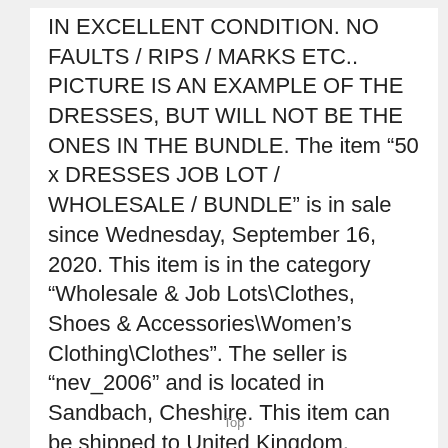IN EXCELLENT CONDITION. NO FAULTS / RIPS / MARKS ETC.. PICTURE IS AN EXAMPLE OF THE DRESSES, BUT WILL NOT BE THE ONES IN THE BUNDLE. The item “50 x DRESSES JOB LOT / WHOLESALE / BUNDLE” is in sale since Wednesday, September 16, 2020. This item is in the category “Wholesale & Job Lots\Clothes, Shoes & Accessories\Women’s Clothing\Clothes”. The seller is “nev_2006” and is located in Sandbach, Cheshire. This item can be shipped to United Kingdom, Antigua and barbuda, Austria, Belgium, Bulgaria, Croatia, Cyprus, Czech republic, Denmark, Estonia, Finland, France, Germany, Greece, Hungary, Ireland, Italy, Latvia, Lithuania, Luxembourg, Malta,
Top